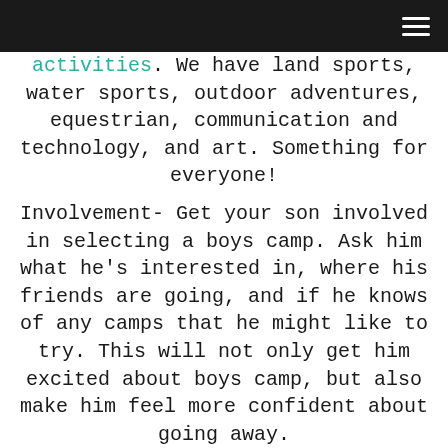[navigation bar with hamburger menu]
activities. We have land sports, water sports, outdoor adventures, equestrian, communication and technology, and art. Something for everyone!
Involvement- Get your son involved in selecting a boys camp. Ask him what he's interested in, where his friends are going, and if he knows of any camps that he might like to try. This will not only get him excited about boys camp, but also make him feel more confident about going away.
Visit- Once you've started to decide on a few boys camp options, go visit them. You will be able to see all of the boys camp facilities in person and see if your son likes it or not. It will also help you get a...